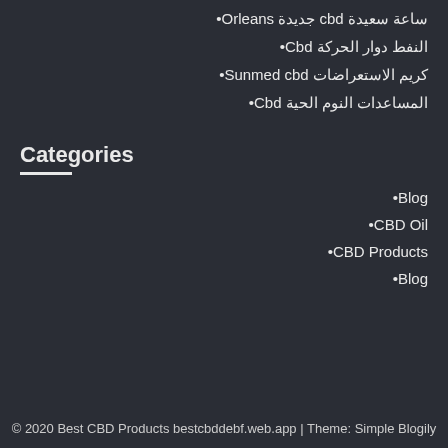ساعة سعيدة cbd جديدة Orleans
النفط دوار الحركة Cbd
كريم الاستعراضات Sunmed cbd
المساعدات النوم الحية Cbd
Categories
Blog
CBD Oil
CBD Products
Blog
© 2020 Best CBD Products bestcbddebf.web.app | Theme: Simple Blogily